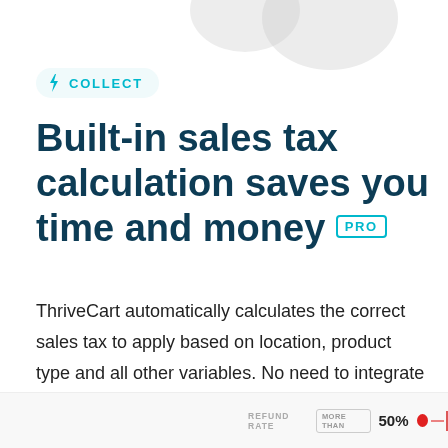[Figure (illustration): Decorative grey circles at top of page]
COLLECT
Built-in sales tax calculation saves you time and money PRO
ThriveCart automatically calculates the correct sales tax to apply based on location, product type and all other variables. No need to integrate other expensive services.
REFUND RATE MORE THAN 50%